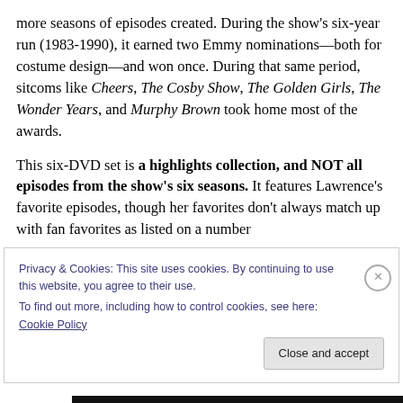more seasons of episodes created. During the show's six-year run (1983-1990), it earned two Emmy nominations—both for costume design—and won once. During that same period, sitcoms like Cheers, The Cosby Show, The Golden Girls, The Wonder Years, and Murphy Brown took home most of the awards.
This six-DVD set is a highlights collection, and NOT all episodes from the show's six seasons. It features Lawrence's favorite episodes, though her favorites don't always match up with fan favorites as listed on a number
Privacy & Cookies: This site uses cookies. By continuing to use this website, you agree to their use.
To find out more, including how to control cookies, see here: Cookie Policy